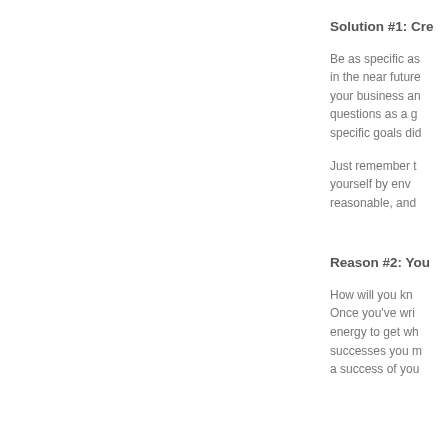Solution #1: Cre
Be as specific as in the near future your business an questions as a g specific goals did
Just remember t yourself by env reasonable, and
Reason #2: You
How will you kn Once you've wri energy to get wh successes you m a success of you